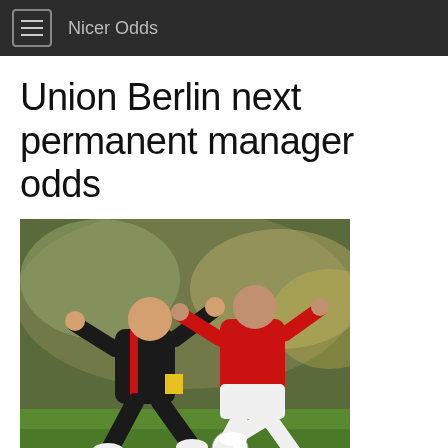Nicer Odds
Union Berlin next permanent manager odds
[Figure (photo): Two football players in action during a match — one in black and red Union Berlin kit, one in red and white Arsenal kit — competing for the ball on a grass pitch with a crowd in the background.]
Union Berlin next manager